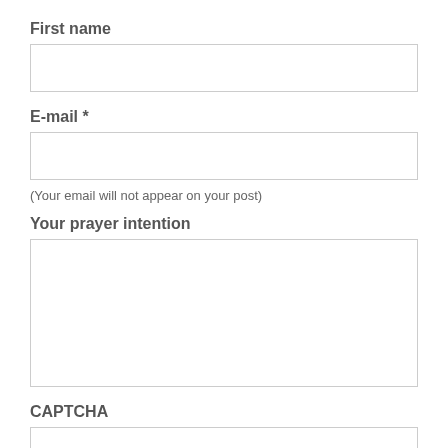First name
[Figure (other): Empty text input field for First name]
E-mail *
[Figure (other): Empty text input field for E-mail]
(Your email will not appear on your post)
Your prayer intention
[Figure (other): Empty textarea input field for prayer intention]
CAPTCHA
[Figure (other): Empty CAPTCHA input field at bottom of page]